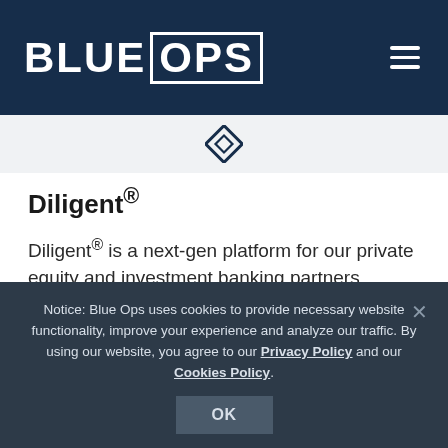BLUE OPS
[Figure (illustration): Diamond/eye icon separator used as a decorative section divider between the header and content]
Diligent®
Diligent® is a next-gen platform for our private equity and investment banking partners. Enhance buy side due diligence with deep analytics, manage your portfolio and field buyer inquiries with light speed during the final sale.
Explore Diligent
Notice: Blue Ops uses cookies to provide necessary website functionality, improve your experience and analyze our traffic. By using our website, you agree to our Privacy Policy and our Cookies Policy.